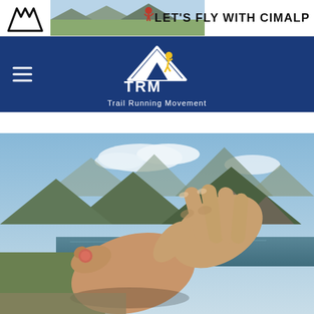[Figure (logo): Cimalp banner advertisement with mountain logo, runner silhouette, and text LET'S FLY WITH CIMALP]
[Figure (logo): Trail Running Movement (TRM) navigation bar with white TRM logo on dark blue background and hamburger menu icon]
[Figure (photo): Close-up photograph of a hand holding a bare foot with a blister on the big toe, with alpine mountain landscape and lake in background]